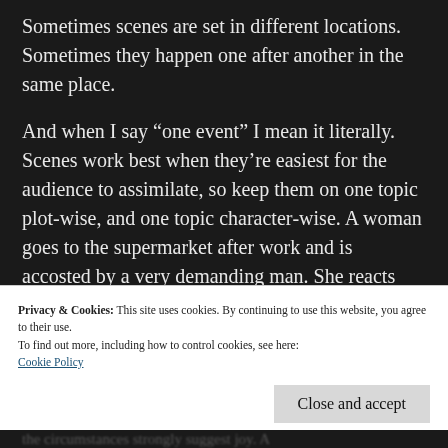Sometimes scenes are set in different locations. Sometimes they happen one after another in the same place.
And when I say “one event” I mean it literally. Scenes work best when they’re easiest for the audience to assimilate, so keep them on one topic plot-wise, and one topic character-wise. A woman goes to the supermarket after work and is accosted by a very demanding man. She reacts with anger – or terror – or joy. The
Privacy & Cookies: This site uses cookies. By continuing to use this website, you agree to their use.
To find out more, including how to control cookies, see here:
Cookie Policy